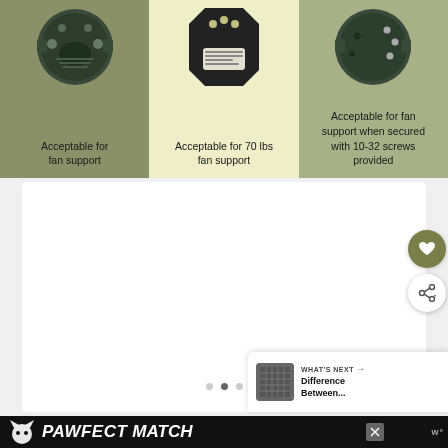[Figure (illustration): Three-panel image showing ceiling fan mounting boxes. Left panel (green background): circular outlet box labeled 'Acceptable for fan support'. Middle panel (cream background): darker round outlet box with label tag, 'Acceptable for 70 lbs fan support'. Right panel (sage green background): circular outlet box with screws visible, 'Acceptable for fan support when secured with 10-32 screws provided'.]
[Figure (screenshot): White card area with navigation dots (three dots) centered at bottom, a heart/favorite button (olive green circle with heart icon) and a share button (white circle with share icon) on the right side. A 'WHAT'S NEXT' card in bottom right with thumbnail and text 'Difference Between...']
[Figure (illustration): Advertisement banner at bottom: black background with 'PAWFECT MATCH' text and cat logo in white/italic, close X button, and 'w°' logo on right.]